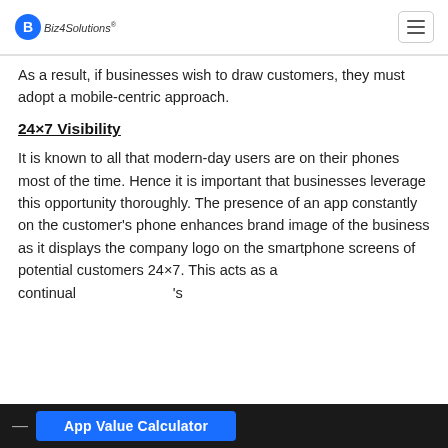Biz4Solutions
As a result, if businesses wish to draw customers, they must adopt a mobile-centric approach.
24×7 Visibility
It is known to all that modern-day users are on their phones most of the time. Hence it is important that businesses leverage this opportunity thoroughly. The presence of an app constantly on the customer's phone enhances brand image of the business as it displays the company logo on the smartphone screens of potential customers 24×7. This acts as a continual … 's
App Value Calculator